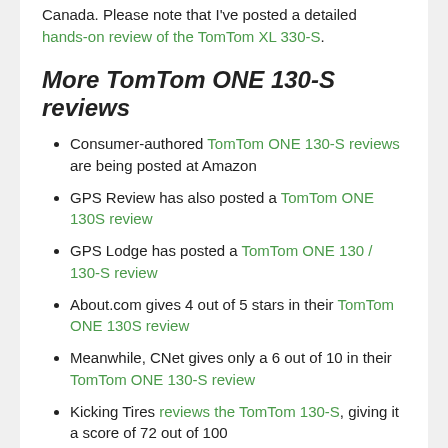Canada. Please note that I've posted a detailed hands-on review of the TomTom XL 330-S.
More TomTom ONE 130-S reviews
Consumer-authored TomTom ONE 130-S reviews are being posted at Amazon
GPS Review has also posted a TomTom ONE 130S review
GPS Lodge has posted a TomTom ONE 130 / 130-S review
About.com gives 4 out of 5 stars in their TomTom ONE 130S review
Meanwhile, CNet gives only a 6 out of 10 in their TomTom ONE 130-S review
Kicking Tires reviews the TomTom 130-S, giving it a score of 72 out of 100
A personal TomTom ONE 130-S review has been posted at Viewpoints
I'll be posting more hands on GPS reviews as they appear, but in the meantime, here are some…